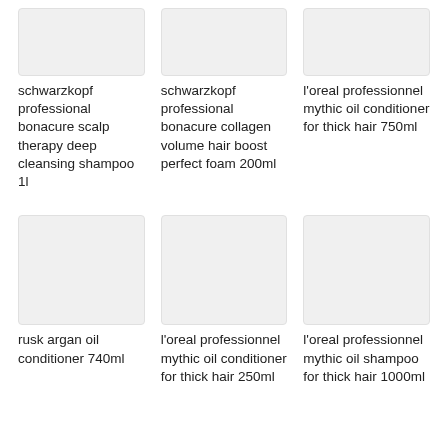[Figure (photo): Product image placeholder for schwarzkopf professional bonacure scalp therapy deep cleansing shampoo 1l]
schwarzkopf professional bonacure scalp therapy deep cleansing shampoo 1l
[Figure (photo): Product image placeholder for schwarzkopf professional bonacure collagen volume hair boost perfect foam 200ml]
schwarzkopf professional bonacure collagen volume hair boost perfect foam 200ml
[Figure (photo): Product image placeholder for l'oreal professionnel mythic oil conditioner for thick hair 750ml]
l'oreal professionnel mythic oil conditioner for thick hair 750ml
[Figure (photo): Product image placeholder for rusk argan oil conditioner 740ml]
rusk argan oil conditioner 740ml
[Figure (photo): Product image placeholder for l'oreal professionnel mythic oil conditioner for thick hair 250ml]
l'oreal professionnel mythic oil conditioner for thick hair 250ml
[Figure (photo): Product image placeholder for l'oreal professionnel mythic oil shampoo for thick hair 1000ml]
l'oreal professionnel mythic oil shampoo for thick hair 1000ml